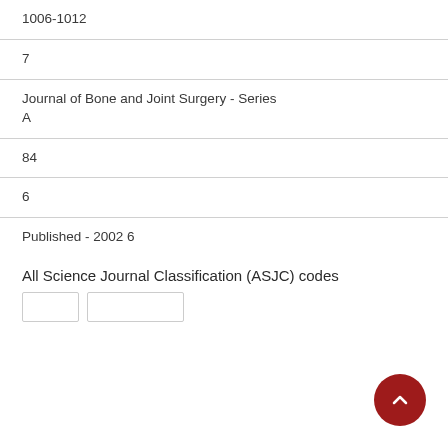1006-1012
7
Journal of Bone and Joint Surgery - Series A
84
6
Published - 2002 6
All Science Journal Classification (ASJC) codes